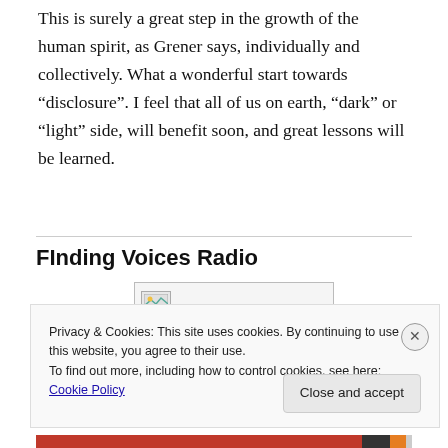This is surely a great step in the growth of the human spirit, as Grener says, individually and collectively. What a wonderful start towards “disclosure”. I feel that all of us on earth, “dark” or “light” side, will benefit soon, and great lessons will be learned.
FInding Voices Radio
[Figure (photo): Broken image placeholder thumbnail]
Privacy & Cookies: This site uses cookies. By continuing to use this website, you agree to their use.
To find out more, including how to control cookies, see here: Cookie Policy
Close and accept